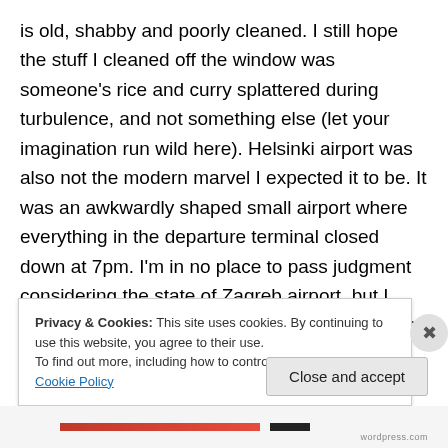is old, shabby and poorly cleaned. I still hope the stuff I cleaned off the window was someone's rice and curry splattered during turbulence, and not something else (let your imagination run wild here). Helsinki airport was also not the modern marvel I expected it to be. It was an awkwardly shaped small airport where everything in the departure terminal closed down at 7pm. I'm in no place to pass judgment considering the state of Zagreb airport, but I simply expected more from Finland. I guess it's called prejudice and I should shake it off. I do have to commend Finnair and Helsinki airport for a great customer service
Privacy & Cookies: This site uses cookies. By continuing to use this website, you agree to their use.
To find out more, including how to control cookies, see here: Cookie Policy
Close and accept